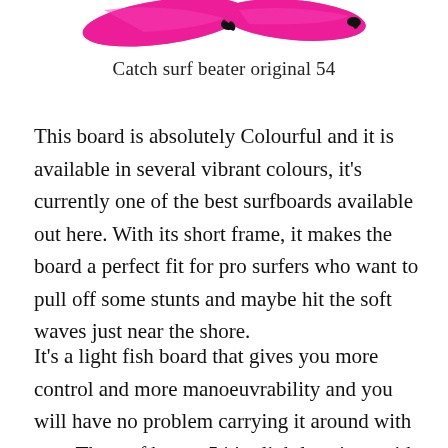[Figure (illustration): Two pink/magenta surfboard or wing-like shapes with black accents on white background, shown from above, decorative product image]
Catch surf beater original 54
This board is absolutely Colourful and it is available in several vibrant colours, it's currently one of the best surfboards available out here. With its short frame, it makes the board a perfect fit for pro surfers who want to pull off some stunts and maybe hit the soft waves just near the shore.
It's a light fish board that gives you more control and more manoeuvrability and you will have no problem carrying it around with you. The surf beater 54 is slightly pricey with a price tag of 190